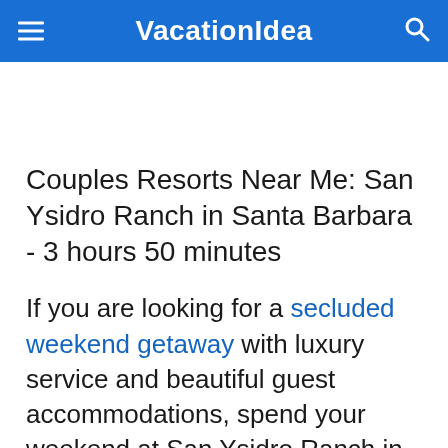VacationIdea
Couples Resorts Near Me: San Ysidro Ranch in Santa Barbara - 3 hours 50 minutes
If you are looking for a secluded weekend getaway with luxury service and beautiful guest accommodations, spend your weekend at San Ysidro Ranch in Santa Barbara, Southern California. You can't go wrong with this historic hideaway where John and Jackie Kennedy honeymooned after they tied the